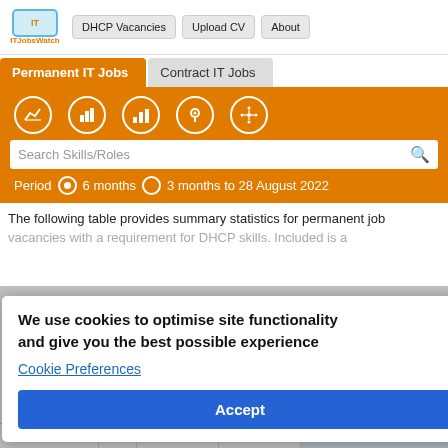ITJobsWatch | DHCP Vacancies | Upload CV | About
Permanent IT Jobs | Contract IT Jobs
Search Skills/Roles
Period  6 months  3 months to 28 August 2022
The following table provides summary statistics for permanent job vacancies with a requirement for DHCP skills. Included is a ... have ... parison
We use cookies to optimise site functionality and give you the best possible experience
Cookie Preferences
Accept
Same Period 2020
| Rank |  | 322 | 270 | 224 |
| --- | --- | --- | --- | --- |
| Rank |  | 322 | 270 | 224 |